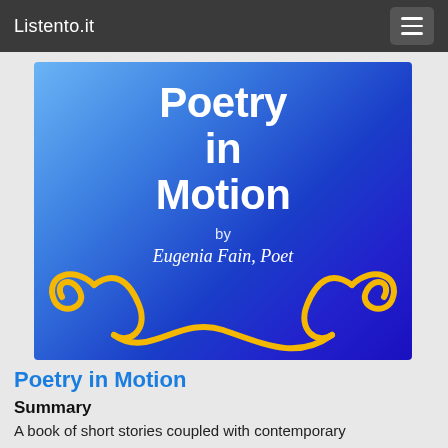Listento.it
[Figure (illustration): Book cover for 'Poetry in Motion' by Eugenia Fain, Poet. Blue gradient background with large bold white title text 'Poetry in Motion', the word 'by' below, a cursive signature 'Eugenia Fain, Poet', and a decorative golden scroll ornament at the bottom.]
Poetry in Motion
Summary
A book of short stories coupled with contemporary